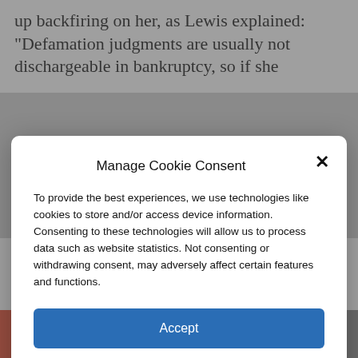up backfiring on her, as Lewis explained: “Defamation judgments are usually not dischargeable in bankruptcy, so if she
Manage Cookie Consent
To provide the best experiences, we use technologies like cookies to store and/or access device information. Consenting to these technologies will allow us to process data such as website statistics. Not consenting or withdrawing consent, may adversely affect certain features and functions.
Accept
Cookie Policy   Privacy Policy
forward with his life, the